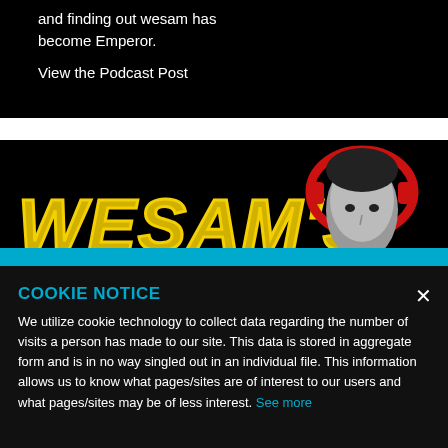and finding out wesam has become Emperor.
View the Podcast Post
[Figure (photo): Podcast promotional image with yellow stylized text reading WESAM'S and a person wearing red headphones on a black background]
COOKIE NOTICE
We utilize cookie technology to collect data regarding the number of visits a person has made to our site. This data is stored in aggregate form and is in no way singled out in an individual file. This information allows us to know what pages/sites are of interest to our users and what pages/sites may be of less interest. See more